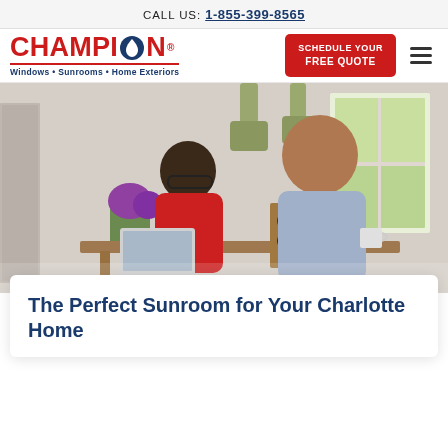CALL US: 1-855-399-8565
[Figure (logo): Champion Windows Sunrooms Home Exteriors logo in red and navy blue]
SCHEDULE YOUR FREE QUOTE
[Figure (photo): A Champion representative in a red shirt sitting at a table with a homeowner, smiling and reviewing information on a tablet in a bright home interior]
The Perfect Sunroom for Your Charlotte Home